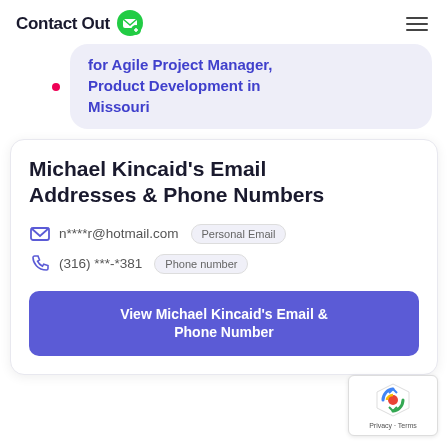ContactOut
for Agile Project Manager, Product Development in Missouri
Michael Kincaid's Email Addresses & Phone Numbers
n****r@hotmail.com  Personal Email
(316) ***-*381  Phone number
View Michael Kincaid's Email & Phone Number